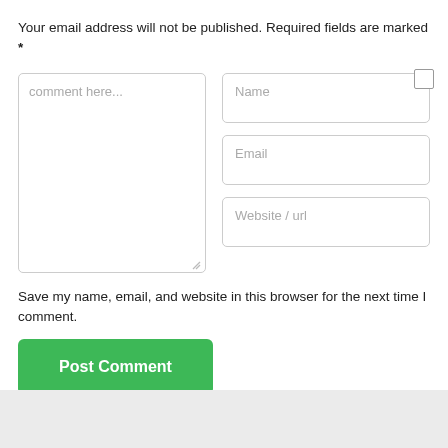Your email address will not be published. Required fields are marked *
[Figure (screenshot): Comment form with textarea labeled 'comment here...', three input fields labeled Name, Email, Website / url, and a checkbox in the top-right corner]
Save my name, email, and website in this browser for the next time I comment.
[Figure (other): Green 'Post Comment' button]